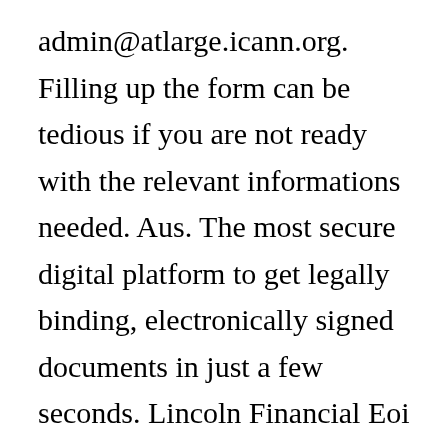admin@atlarge.icann.org. Filling up the form can be tedious if you are not ready with the relevant informations needed. Aus. The most secure digital platform to get legally binding, electronically signed documents in just a few seconds. Lincoln Financial Eoi Form. EOI Australia. Thread starter alexmaster_2004; Start date Aug 3, 2017; Tags family name full name given name A. alexmaster_2004 Wanderer. You should submit another EOI with correct information and wait to receive another Letter of Advice to Apply. Fill out